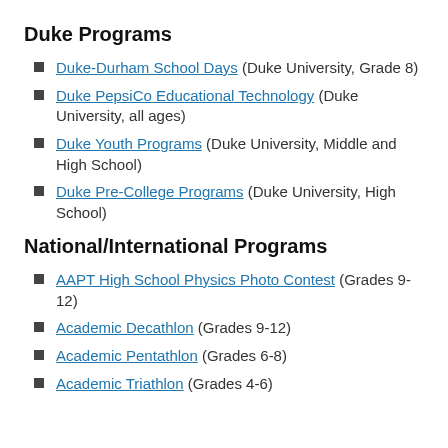Duke Programs
Duke-Durham School Days (Duke University, Grade 8)
Duke PepsiCo Educational Technology (Duke University, all ages)
Duke Youth Programs (Duke University, Middle and High School)
Duke Pre-College Programs (Duke University, High School)
National/International Programs
AAPT High School Physics Photo Contest (Grades 9-12)
Academic Decathlon (Grades 9-12)
Academic Pentathlon (Grades 6-8)
Academic Triathlon (Grades 4-6)